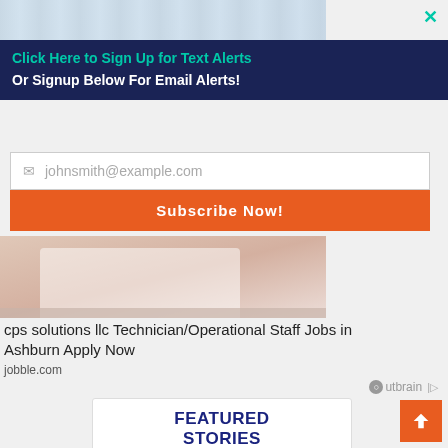[Figure (screenshot): Partial top image strip showing person working at desk, cropped at top]
✕
Click Here to Sign Up for Text Alerts
Or Signup Below For Email Alerts!
johnsmith@example.com
Subscribe Now!
[Figure (photo): Person sitting at desk working, lower portion visible]
cps solutions llc Technician/Operational Staff Jobs in Ashburn Apply Now
jobble.com
Outbrain
FEATURED STORIES
[Figure (photo): Man in business attire near a digital display screen]